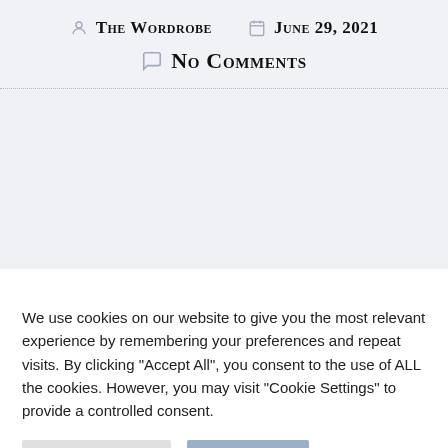The Wordrobe   June 29, 2021
No Comments
We use cookies on our website to give you the most relevant experience by remembering your preferences and repeat visits. By clicking "Accept All", you consent to the use of ALL the cookies. However, you may visit "Cookie Settings" to provide a controlled consent.
Cookie Settings   Accept All